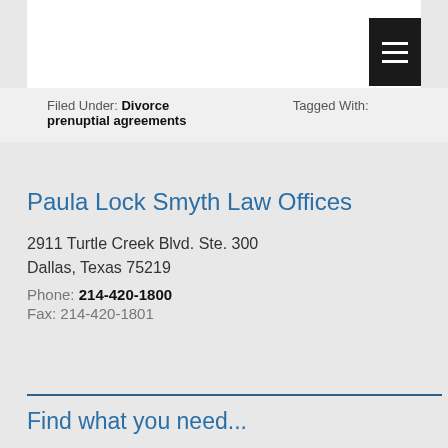Filed Under: Divorce   Tagged With: prenuptial agreements
Paula Lock Smyth Law Offices
2911 Turtle Creek Blvd. Ste. 300
Dallas, Texas 75219
Phone: 214-420-1800
Fax: 214-420-1801
Find what you need...